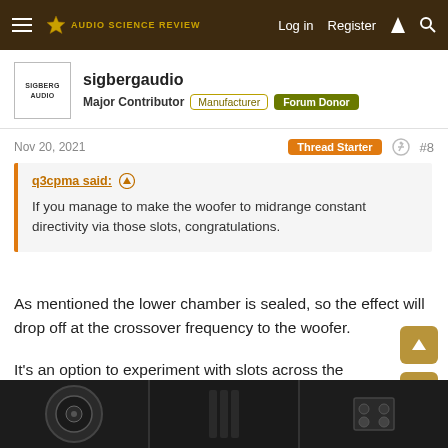Audio Science Review — Log in | Register
sigbergaudio
Major Contributor | Manufacturer | Forum Donor
Nov 20, 2021   Thread Starter   #8
q3cpma said: ↑
If you manage to make the woofer to midrange constant directivity via those slots, congratulations.
As mentioned the lower chamber is sealed, so the effect will drop off at the crossover frequency to the woofer.
It's an option to experiment with slots across the chambers as well, but we've not built a prototype for that so far.
[Figure (photo): Three photos of speaker components at bottom of page: woofer driver, vertical slot ports, and crossover/terminal panel, all on dark background.]